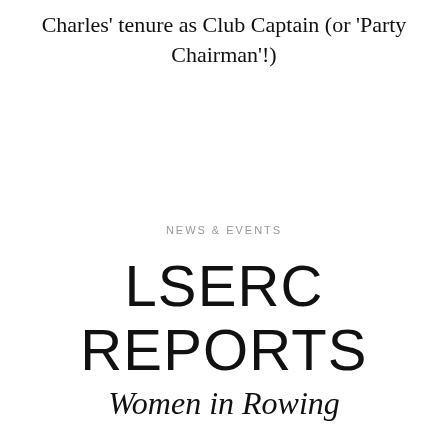Charles' tenure as Club Captain (or 'Party Chairman'!)
NEWS & EVENTS
LSERC REPORTS
Women in Rowing